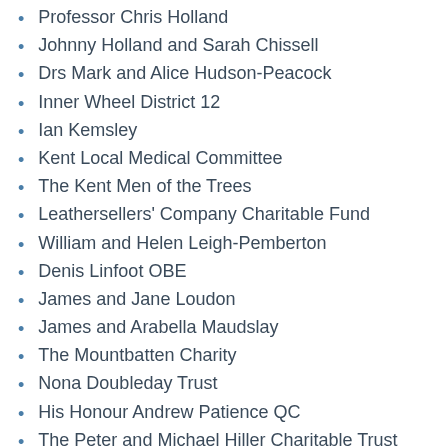Professor Chris Holland
Johnny Holland and Sarah Chissell
Drs Mark and Alice Hudson-Peacock
Inner Wheel District 12
Ian Kemsley
Kent Local Medical Committee
The Kent Men of the Trees
Leathersellers' Company Charitable Fund
William and Helen Leigh-Pemberton
Denis Linfoot OBE
James and Jane Loudon
James and Arabella Maudslay
The Mountbatten Charity
Nona Doubleday Trust
His Honour Andrew Patience QC
The Peter and Michael Hiller Charitable Trust
P F Charitable Trust